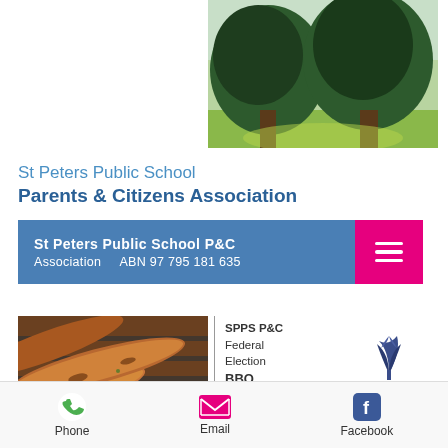[Figure (photo): Photo of large trees in a park/school grounds]
St Peters Public School Parents & Citizens Association
St Peters Public School P&C Association    ABN 97 795 181 635
[Figure (photo): Photo of sausages/bratwurst cooking on a BBQ grill]
SPPS P&C Federal Election BBQ + Cake Stall Saturday 21st May 8am–4pm
[Figure (logo): St Peters Public School logo with leaf/plant icon]
Presented by St Peters Public School P&C Association
Proceeds go to funding our school activities, plans & future grow
FEDERAL ELECTION FUNDRAISER:
Come for the vote, stay for the
Phone    Email    Facebook